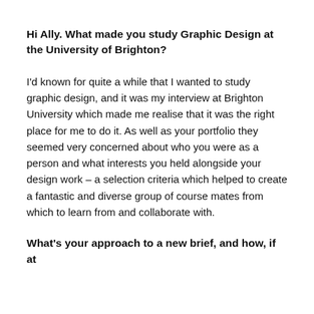Hi Ally. What made you study Graphic Design at the University of Brighton?
I'd known for quite a while that I wanted to study graphic design, and it was my interview at Brighton University which made me realise that it was the right place for me to do it. As well as your portfolio they seemed very concerned about who you were as a person and what interests you held alongside your design work – a selection criteria which helped to create a fantastic and diverse group of course mates from which to learn from and collaborate with.
What's your approach to a new brief, and how, if at